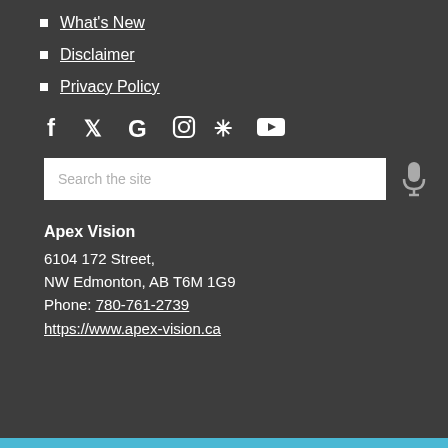What's New
Disclaimer
Privacy Policy
[Figure (infographic): Row of social media icons: Facebook, Twitter, Google, Instagram, Yelp, YouTube]
[Figure (infographic): Search bar with placeholder text 'Search the site' and microphone icon]
Apex Vision
6104 172 Street,
NW Edmonton, AB T6M 1G9
Phone: 780-761-2739
https://www.apex-vision.ca